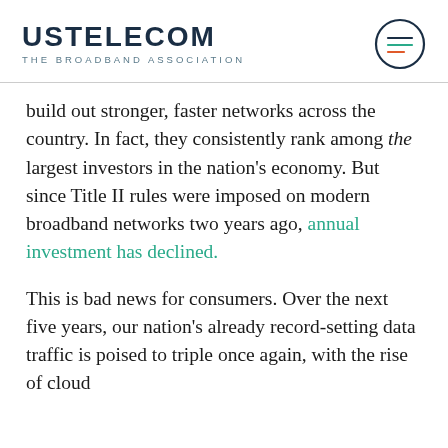USTELECOM THE BROADBAND ASSOCIATION
build out stronger, faster networks across the country. In fact, they consistently rank among the largest investors in the nation's economy. But since Title II rules were imposed on modern broadband networks two years ago, annual investment has declined.
This is bad news for consumers. Over the next five years, our nation's already record-setting data traffic is poised to triple once again, with the rise of cloud